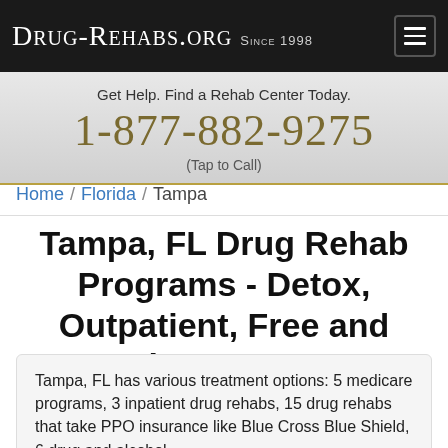Drug-Rehabs.org Since 1998
Get Help. Find a Rehab Center Today.
1-877-882-9275
(Tap to Call)
Home / Florida / Tampa
Tampa, FL Drug Rehab Programs - Detox, Outpatient, Free and Inpatient Treatment
Tampa, FL has various treatment options: 5 medicare programs, 3 inpatient drug rehabs, 15 drug rehabs that take PPO insurance like Blue Cross Blue Shield, 6 drug and alcohol